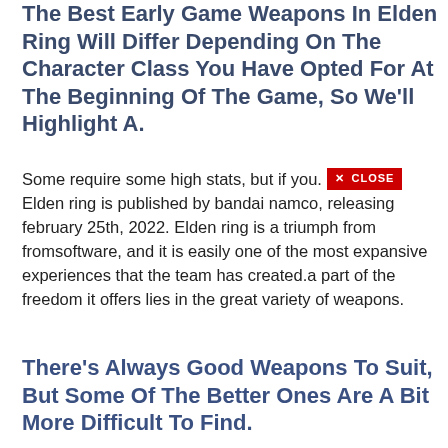The Best Early Game Weapons In Elden Ring Will Differ Depending On The Character Class You Have Opted For At The Beginning Of The Game, So We'll Highlight A.
Some require some high stats, but if you. Elden ring is published by bandai namco, releasing february 25th, 2022. Elden ring is a triumph from fromsoftware, and it is easily one of the most expansive experiences that the team has created.a part of the freedom it offers lies in the great variety of weapons.
There's Always Good Weapons To Suit, But Some Of The Better Ones Are A Bit More Difficult To Find.